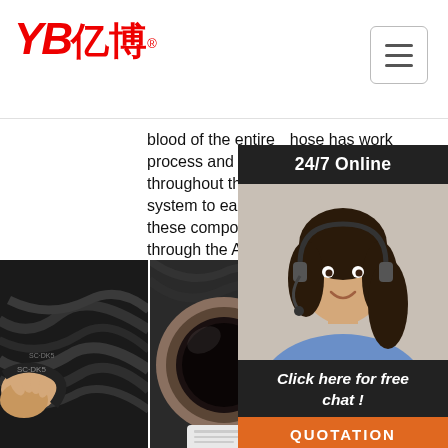[Figure (screenshot): YB亿博 company logo in red on white header with hamburger menu icon top right]
blood of the entire process and flows throughout the system to each of these components through the AC hose.
hose has work on barbs, compressor ada... mo... spe... pag...
[Figure (photo): 24/7 Online chat popup with dark header, female customer service agent with headset, 'Click here for free chat!' text, and orange QUOTATION button]
Get Price
G
[Figure (photo): Three product photos of AC hoses/cables at the bottom of the page. Left: hands holding black cables, Center: close-up of hose end, Right: bundled black cables with TOP watermark]